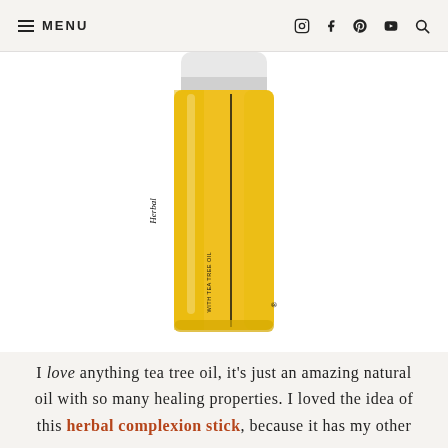≡ MENU  [instagram] [facebook] [pinterest] [youtube] [search]
[Figure (photo): Burt's Bees Herbal Complexion Stick product photo — a yellow roll-on stick bottle with white cap, displaying 'BURT'S BEES Herbal COMPLEXION STICK' label text rotated vertically]
I love anything tea tree oil, it's just an amazing natural oil with so many healing properties. I loved the idea of this herbal complexion stick, because it has my other